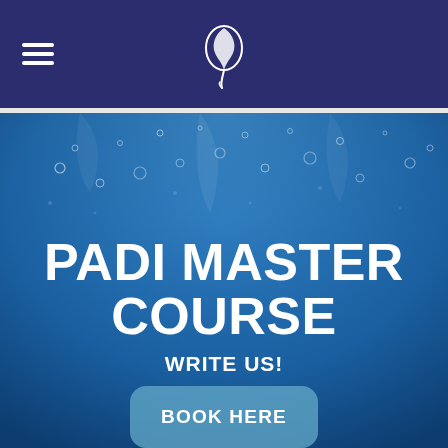Navigation bar with hamburger menu and logo
[Figure (illustration): Underwater scene with blue water and light bubbles rising, forming the hero background of a diving course webpage]
PADI MASTER COURSE
WRITE US!
BOOK HERE